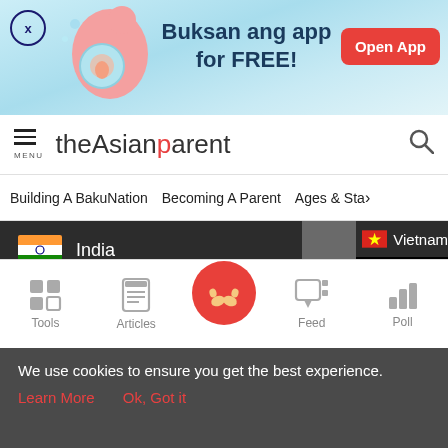[Figure (screenshot): App advertisement banner with illustration of pregnant woman, text 'Buksan ang app for FREE!' and red 'Open App' button]
[Figure (screenshot): theAsianparent website navigation bar with hamburger menu, logo, and search icon]
[Figure (screenshot): Navigation category bar showing 'Building A BakuNation', 'Becoming A Parent', 'Ages & Sta>' links]
[Figure (screenshot): Dropdown country selector showing India and Australia flags, with Vietnam partially visible, and black video area]
[Figure (screenshot): Bottom navigation bar with Tools, Articles, center baby feet icon, Feed, and Poll items]
We use cookies to ensure you get the best experience.
Learn More   Ok, Got it